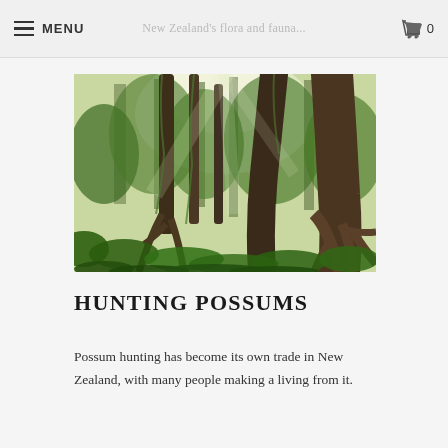MENU  [cart] 0
[Figure (photo): Dense New Zealand rainforest with large trees, exposed roots, ferns, and lush green undergrowth with light filtering through the canopy]
HUNTING POSSUMS
Possum hunting has become its own trade in New Zealand, with many people making a living from it.